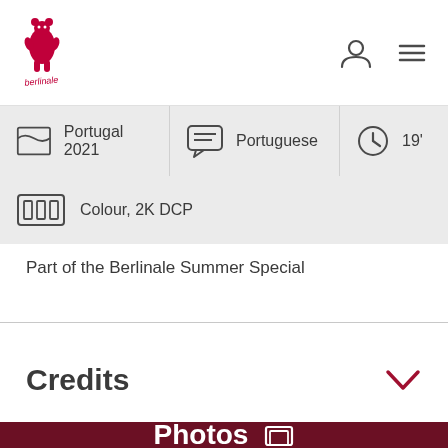Berlinale header with logo and navigation icons
Portugal 2021
Portuguese
19'
Colour, 2K DCP
Part of the Berlinale Summer Special
Credits
Photos